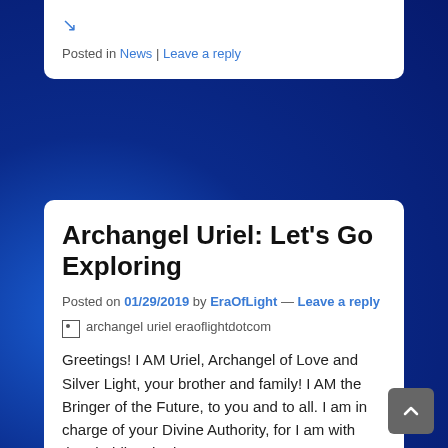↘
Posted in News | Leave a reply
Archangel Uriel: Let's Go Exploring
Posted on 01/29/2019 by EraOfLight — Leave a reply
[Figure (photo): Image placeholder showing alt text: archangel uriel eraoflightdotcom]
Greetings! I AM Uriel, Archangel of Love and Silver Light, your brother and family! I AM the Bringer of the Future, to you and to all. I am in charge of your Divine Authority, for I am with thee holding the love